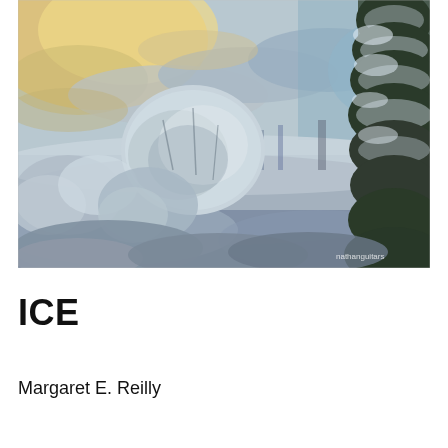[Figure (photo): A winter landscape photograph showing snow-covered trees and shrubs under a dramatic sky with warm golden light breaking through clouds. A large evergreen tree dominates the right side, and a rounded deciduous tree covered in snow is visible in the center-left. A watermark 'nathanguitars' appears in the lower-right corner of the photo.]
ICE
Margaret E. Reilly